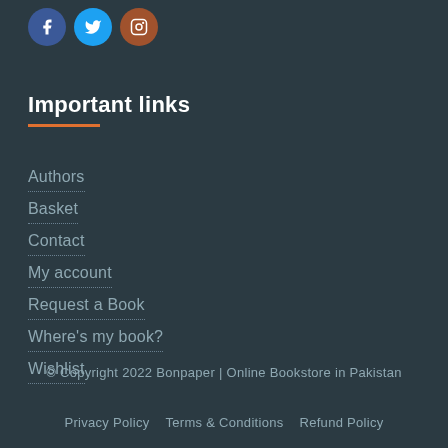[Figure (other): Three social media icons: Facebook (blue circle with f), Twitter (light blue circle with bird), Instagram (brown/orange circle with camera outline)]
Important links
Authors
Basket
Contact
My account
Request a Book
Where's my book?
Wishlist
© Copyright 2022 Bonpaper | Online Bookstore in Pakistan
Privacy Policy   Terms & Conditions   Refund Policy